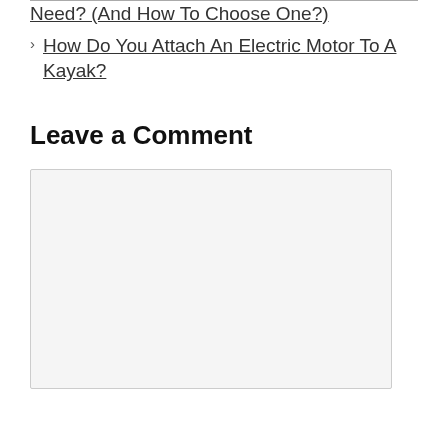Need? (And How To Choose One?)
How Do You Attach An Electric Motor To A Kayak?
Leave a Comment
[Figure (other): Empty comment textarea input box with light gray background]